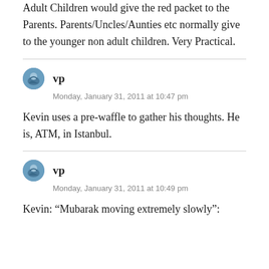Adult Children would give the red packet to the Parents. Parents/Uncles/Aunties etc normally give to the younger non adult children. Very Practical.
vp
Monday, January 31, 2011 at 10:47 pm
Kevin uses a pre-waffle to gather his thoughts. He is, ATM, in Istanbul.
vp
Monday, January 31, 2011 at 10:49 pm
Kevin: “Mubarak moving extremely slowly”: